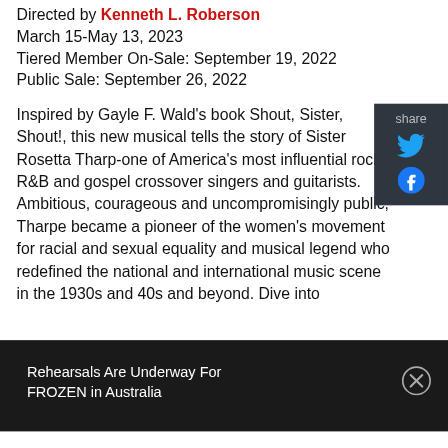Directed by Kenneth L. Roberson
March 15-May 13, 2023
Tiered Member On-Sale: September 19, 2022
Public Sale: September 26, 2022
Inspired by Gayle F. Wald's book Shout, Sister, Shout!, this new musical tells the story of Sister Rosetta Tharp-one of America's most influential rock, R&B and gospel crossover singers and guitarists. Ambitious, courageous and uncompromisingly public, Tharpe became a pioneer of the women's movement for racial and sexual equality and musical legend who redefined the national and international music scene in the 1930s and 40s and beyond. Dive into
Rehearsals Are Underway For FROZEN in Australia